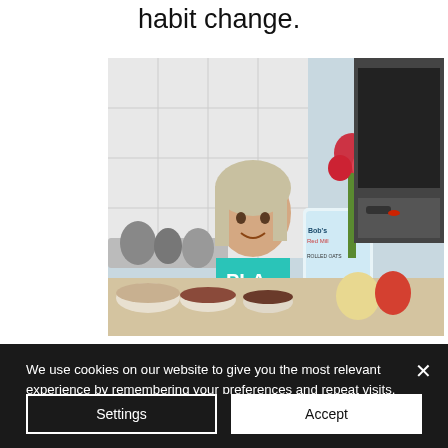habit change.
[Figure (photo): A woman in a teal t-shirt holding a bag of Bob's Red Mill rolled oats in a kitchen setting with various food items on the counter including bowls of grains and fruits, with pots hanging in background and an oven visible.]
We use cookies on our website to give you the most relevant experience by remembering your preferences and repeat visits. By clicking "Accept", you consent to the use of the cookies. However, you may visit "Settings" to provide a controlled consent.  Privacy Policy
Settings
Accept